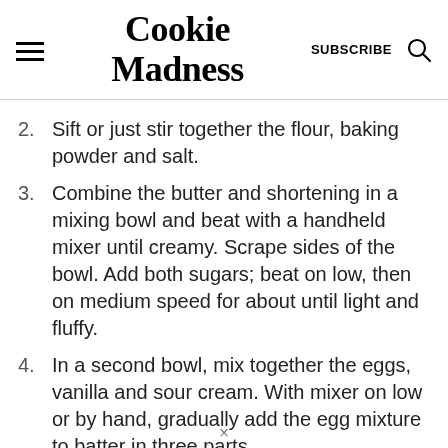Cookie Madness | SUBSCRIBE
2. Sift or just stir together the flour, baking powder and salt.
3. Combine the butter and shortening in a mixing bowl and beat with a handheld mixer until creamy. Scrape sides of the bowl. Add both sugars; beat on low, then on medium speed for about until light and fluffy.
4. In a second bowl, mix together the eggs, vanilla and sour cream. With mixer on low or by hand, gradually add the egg mixture to batter in three parts.
×